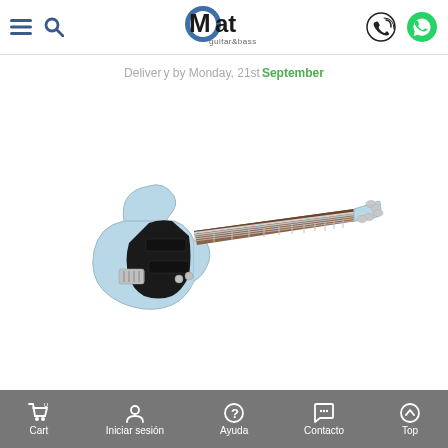Mat guitar&bass — navigation header with menu, search, logo, phone and WhatsApp icons
Delivery by Monday, 21st September
[Figure (photo): Electric bass guitar in light blue/sonic blue finish with dark pickguard and rosewood fretboard, 5-string Jazz Bass style, facing right]
Add to wishlist | Add to compare | Share
Cart 0 | Iniciar sesión | Ayuda | Contacto | Top